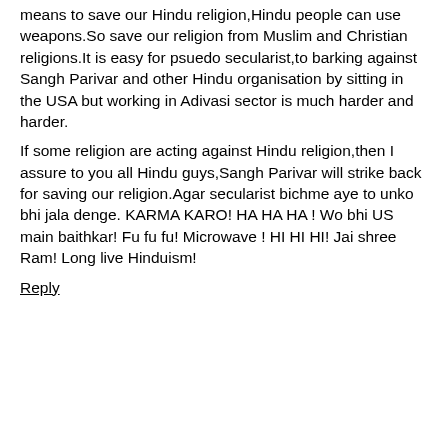means to save our Hindu religion,Hindu people can use weapons.So save our religion from Muslim and Christian religions.It is easy for psuedo secularist,to barking against Sangh Parivar and other Hindu organisation by sitting in the USA but working in Adivasi sector is much harder and harder.
If some religion are acting against Hindu religion,then I assure to you all Hindu guys,Sangh Parivar will strike back for saving our religion.Agar secularist bichme aye to unko bhi jala denge. KARMA KARO! HA HA HA ! Wo bhi US main baithkar! Fu fu fu! Microwave ! HI HI HI! Jai shree Ram! Long live Hinduism!
Reply